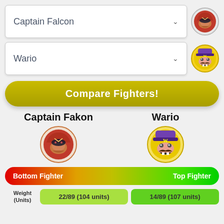[Figure (screenshot): Dropdown selector showing Captain Falcon with avatar icon]
[Figure (screenshot): Dropdown selector showing Wario with avatar icon]
Compare Fighters!
Captain Fakon
Wario
[Figure (illustration): Captain Falcon face icon large]
[Figure (illustration): Wario face icon large]
[Figure (infographic): Gradient bar from red (Bottom Fighter) to green (Top Fighter)]
| Weight (Units) | Captain Fakon | Wario |
| --- | --- | --- |
| Weight (Units) | 22/89 (104 units) | 14/89 (107 units) |